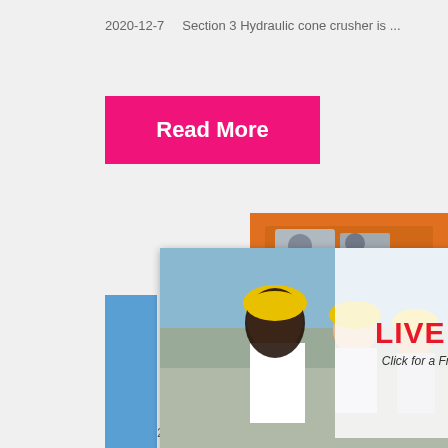2020-12-7    Section 3 Hydraulic cone crusher is ...
Read More
[Figure (screenshot): Live chat popup with workers in hard hats, 'LIVE CHAT' heading, 'Click for a Free Consultation', Chat now and Chat later buttons]
[Figure (photo): Orange sidebar panel with images of stone crushing machines]
[Figure (infographic): Yellow bar: Enjoy 3% discount, orange bar: Click to Chat]
Concrete Recycling Crushers For Gravel And ...
Enquiry
limingjlmofen@sina.com
2021-10-24    Metso concrete crusher, co...